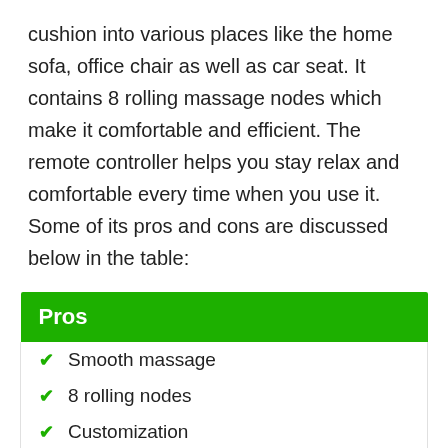cushion into various places like the home sofa, office chair as well as car seat. It contains 8 rolling massage nodes which make it comfortable and efficient. The remote controller helps you stay relax and comfortable every time when you use it. Some of its pros and cons are discussed below in the table:
| Pros |
| --- |
| Smooth massage |
| 8 rolling nodes |
| Customization |
| Adjustable into office, home, and car |